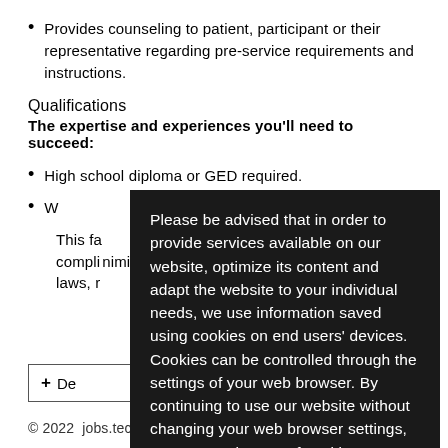Provides counseling to patient, participant or their representative regarding pre-service requirements and instructions.
Qualifications
The expertise and experiences you'll need to succeed:
High school diploma or GED required.
W[partially obscured]
This fa[partially obscured] compli[partially obscured]mination laws, r[partially obscured]
Please be advised that in order to provide services available on our website, optimize its content and adapt the website to your individual needs, we use information saved using cookies on end users' devices. Cookies can be controlled through the settings of your web browser. By continuing to use our website without changing your web browser settings, you accept the use of cookies. More information is contained in the website's privacy policy.
+ De[partially obscured]
© 2022 jobs.tech